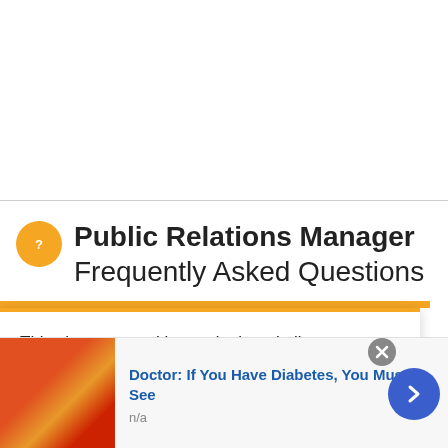Public Relations Manager Frequently Asked Questions
This site uses cookies and other similar technologies to provide site functionality, analyze traffic and usage, and
[Figure (other): Advertisement banner: Doctor: If You Have Diabetes, You Must See. Candy/gummy image on left. Blue arrow button on right. Close button top right.]